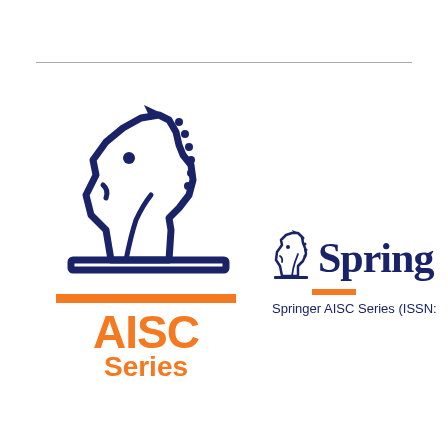[Figure (logo): AISC Series logo: dark navy chess knight silhouette (outline style) above an orange horizontal bar, with 'AISC' in large bold orange text and 'Series' in bold orange below]
[Figure (logo): Springer logo: small navy chess knight silhouette followed by 'Spring' text in dark navy serif font, with small orange bar below and 'Springer AISC Series (ISSN:' text underneath]